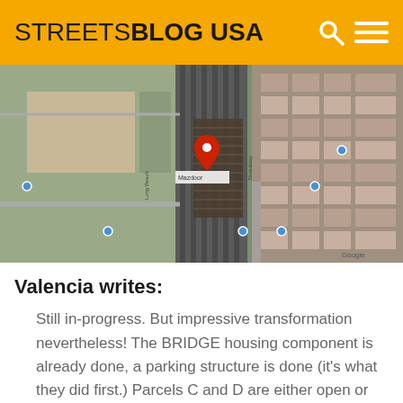STREETSBLOG USA
[Figure (map): Aerial satellite map view showing a rail yard or transit corridor area with surrounding urban blocks, residential areas, and streets. A red location pin is visible near the center of the image labeled 'Mazdoor']
Valencia writes:
Still in-progress. But impressive transformation nevertheless! The BRIDGE housing component is already done, a parking structure is done (it's what they did first.) Parcels C and D are either open or about to (maccommons.com) and the Parcel B tower is on its fifth or sixth story of a 20+-story